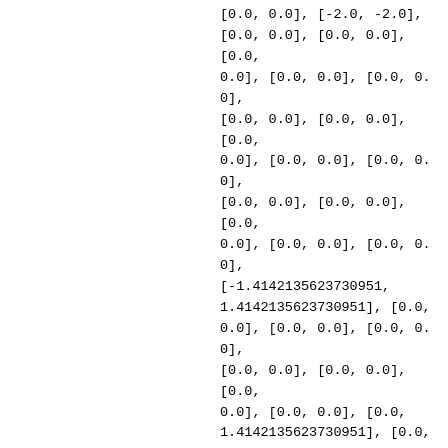[0.0, 0.0], [-2.0, -2.0],
[0.0, 0.0], [0.0, 0.0], [0.0,
0.0], [0.0, 0.0], [0.0, 0.0],
[0.0, 0.0], [0.0, 0.0], [0.0,
0.0], [0.0, 0.0], [0.0, 0.0],
[0.0, 0.0], [0.0, 0.0], [0.0,
0.0], [0.0, 0.0], [0.0, 0.0],
[-1.4142135623730951,
1.4142135623730951], [0.0,
0.0], [0.0, 0.0], [0.0, 0.0],
[0.0, 0.0], [0.0, 0.0], [0.0,
0.0], [0.0, 0.0], [0.0,
1.4142135623730951], [0.0,
0.0], [0.0, 0.0], [0.0, 0.0],
[0.0, 0.0], [0.0, 0.0], [0.0,
0.0], [0.0, 0.0], [0.0, 0.0],
[0.0, 0.0], [0.0, 0.0], [0.0,
0.0], [0.0, 0.0], [0.0, 0.0],
[0.0, -1.4142135623730951],
[0.0, 0.0], [0.0, 0.0], [0.0,